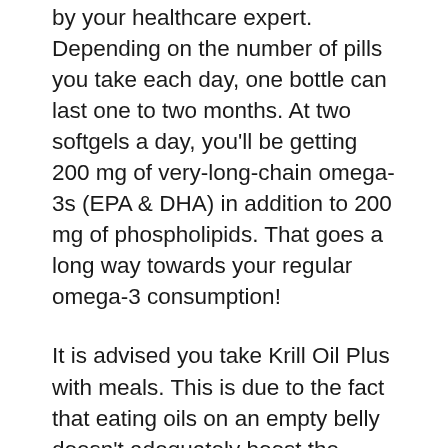by your healthcare expert. Depending on the number of pills you take each day, one bottle can last one to two months. At two softgels a day, you'll be getting 200 mg of very-long-chain omega-3s (EPA & DHA) in addition to 200 mg of phospholipids. That goes a long way towards your regular omega-3 consumption!
It is advised you take Krill Oil Plus with meals. This is due to the fact that eating oils on an empty belly doesn't adequately boost the production of the bile that is made use of to break down oils – resulting in ineffective absorption. I.e. it would certainly be a waste. This product contains crustacean shellfish through the krill. As the visibility of fish, the softgel pill is made from gelatin (bovine) so it